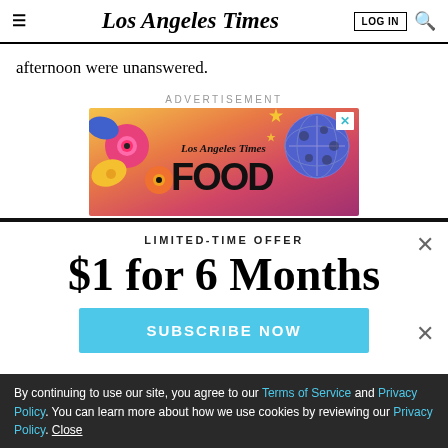Los Angeles Times
afternoon were unanswered.
ADVERTISEMENT
[Figure (illustration): Los Angeles Times Food advertisement banner with colorful flowers on left and disco ball on right, on a warm gradient background]
LIMITED-TIME OFFER
$1 for 6 Months
SUBSCRIBE NOW
By continuing to use our site, you agree to our Terms of Service and Privacy Policy. You can learn more about how we use cookies by reviewing our Privacy Policy. Close